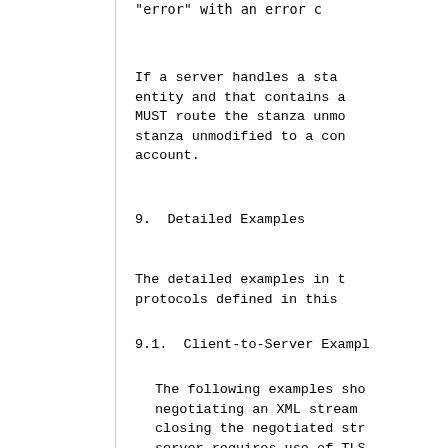"error" with an error c
If a server handles a sta entity and that contains a MUST route the stanza unmo stanza unmodified to a con account.
9.  Detailed Examples
The detailed examples in t protocols defined in this
9.1.  Client-to-Server Exampl
The following examples sho negotiating an XML stream closing the negotiated str server requires use of TLS SCRAM-SHA-1 mechanism as s "r0m30myr0m30"  and the c